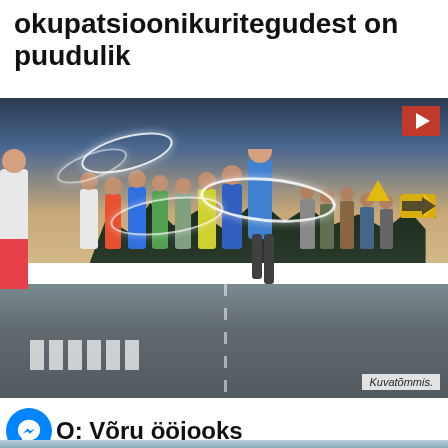okupatsioonikuritegudest on puudulik
[Figure (photo): A large group of runners racing down a street at dusk/night, with decorative halo/ring lights overhead and trees in background. A video camera icon appears in top right corner. Caption reads 'Kuvatõmmis.']
Kuvatõmmis.
VIDEO: Võru ööjooks
[Figure (photo): Bottom edge of another photo visible, appears to show a close-up scene.]